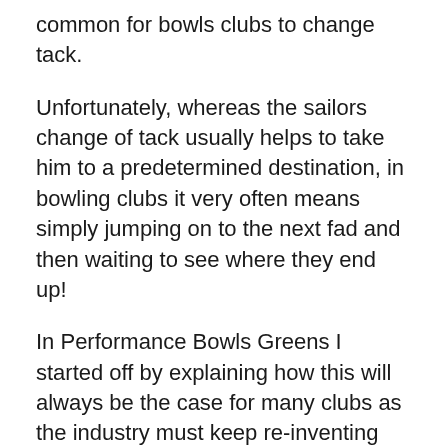common for bowls clubs to change tack.
Unfortunately, whereas the sailors change of tack usually helps to take him to a predetermined destination, in bowling clubs it very often means simply jumping on to the next fad and then waiting to see where they end up!
In Performance Bowls Greens I started off by explaining how this will always be the case for many clubs as the industry must keep re-inventing the wheel to keep up sales and it is actually in the trade’s best interest for your bowls green to be sub-standard so that you feel the urge to keep trying new things to correct it!
The biggest of these fads in recent times is